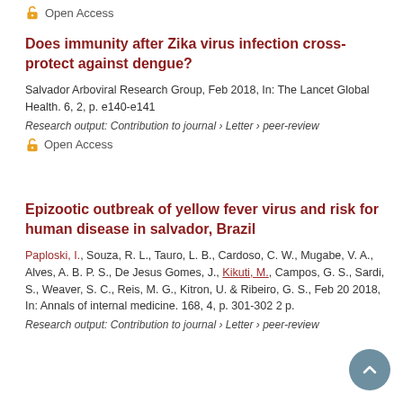Open Access
Does immunity after Zika virus infection cross-protect against dengue?
Salvador Arboviral Research Group, Feb 2018, In: The Lancet Global Health. 6, 2, p. e140-e141
Research output: Contribution to journal › Letter › peer-review
Open Access
Epizootic outbreak of yellow fever virus and risk for human disease in salvador, Brazil
Paploski, I., Souza, R. L., Tauro, L. B., Cardoso, C. W., Mugabe, V. A., Alves, A. B. P. S., De Jesus Gomes, J., Kikuti, M., Campos, G. S., Sardi, S., Weaver, S. C., Reis, M. G., Kitron, U. & Ribeiro, G. S., Feb 20 2018, In: Annals of internal medicine. 168, 4, p. 301-302 2 p.
Research output: Contribution to journal › Letter › peer-review